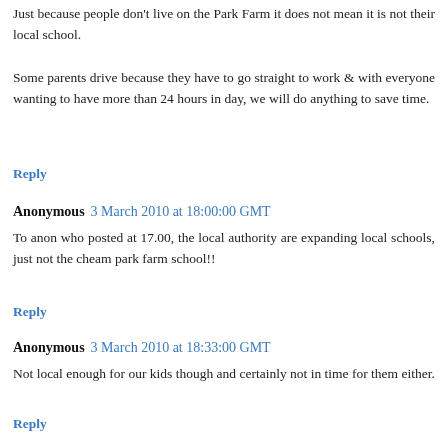Just because people don't live on the Park Farm it does not mean it is not their local school.
Some parents drive because they have to go straight to work & with everyone wanting to have more than 24 hours in day, we will do anything to save time.
Reply
Anonymous 3 March 2010 at 18:00:00 GMT
To anon who posted at 17.00, the local authority are expanding local schools, just not the cheam park farm school!!
Reply
Anonymous 3 March 2010 at 18:33:00 GMT
Not local enough for our kids though and certainly not in time for them either.
Reply